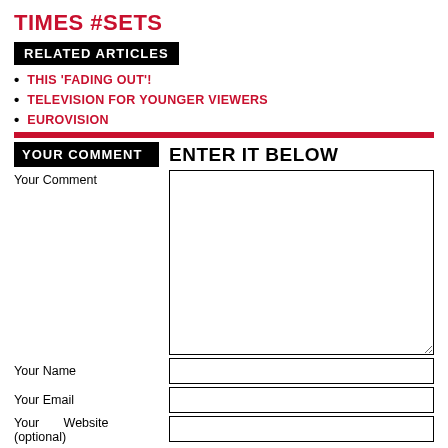TIMES #SETS
RELATED ARTICLES
THIS 'FADING OUT'!
TELEVISION FOR YOUNGER VIEWERS
EUROVISION
YOUR COMMENT | ENTER IT BELOW
Your Comment
Your Name
Your Email
Your Website (optional)